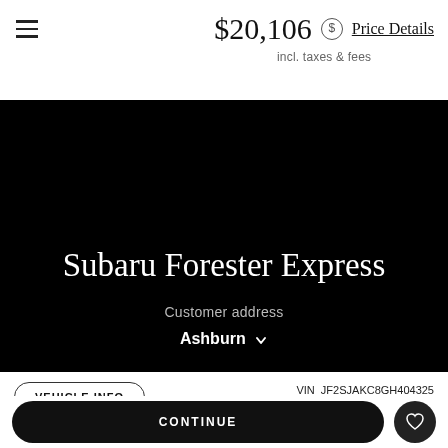$20,106 Price Details incl. taxes & fees
Subaru Forester Express
Customer address
Ashburn
VEHICLE INFO
VIN JF2SJAKC8GH404325 Model GFI Stock M972B
[Figure (photo): Dealer advertisement image showing 'Right on the Pike Right on the Price' text on dark red/green background]
[Figure (logo): Freysinger dealership logo with car silhouette and red accent]
CONTINUE